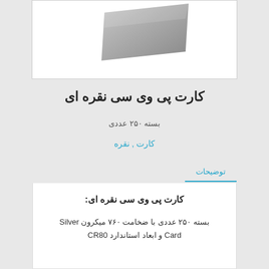[Figure (photo): Silver PVC card product image shown at an angle on white background]
کارت پی وی سی نقره ای
بسته ۲۵۰ عددی
کارت , نقره
توضیحات
کارت پی وی سی نقره ای:
بسته ۲۵۰ عددی با ضخامت ۷۶۰ میکرون Silver Card و ابعاد استاندارد CR80